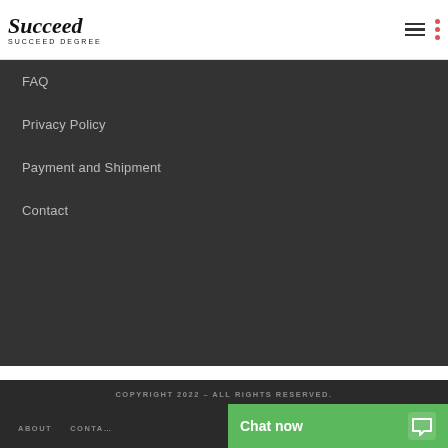Succeed SUCCEED DEGREE
FAQ
Privacy Policy
Payment and Shipment
Contact
COPYRIGHT 2022 - ALL RIGHTS RESERVED.
ABOUT   CONTA...
Chat now